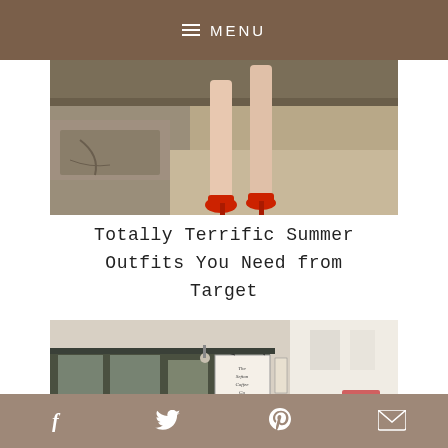MENU
[Figure (photo): Close-up photo of a woman's legs wearing red sandal heels, walking on a sidewalk near a stone ledge]
Totally Terrific Summer Outfits You Need from Target
[Figure (photo): Street view photo of a coffee shop storefront showing 'The Sefton Coffee Co' sign, with a woman with red hair visible in the lower right]
Social share icons: Facebook, Twitter, Pinterest, Email